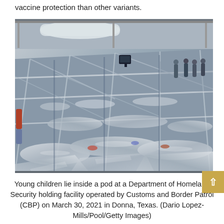vaccine protection than other variants.
[Figure (photo): Young children lying inside a pod at a Department of Homeland Security holding facility operated by Customs and Border Patrol (CBP) in Donna, Texas. The photo shows an overcrowded temporary facility with transparent plastic pods, metal scaffolding, and children wrapped in foil emergency blankets lying on the floor.]
Young children lie inside a pod at a Department of Homeland Security holding facility operated by Customs and Border Patrol (CBP) on March 30, 2021 in Donna, Texas. (Dario Lopez-Mills/Pool/Getty Images)